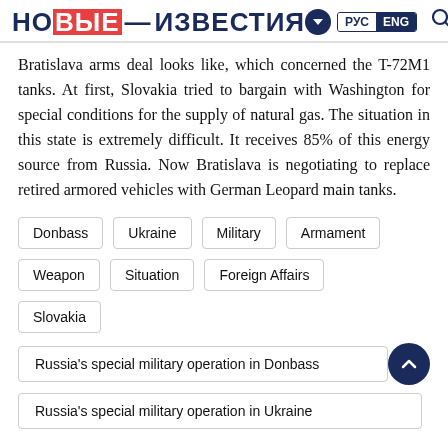НОВЫЕ ИЗВЕСТИЯ — РУС / ENG
Bratislava arms deal looks like, which concerned the T-72M1 tanks. At first, Slovakia tried to bargain with Washington for special conditions for the supply of natural gas. The situation in this state is extremely difficult. It receives 85% of this energy source from Russia. Now Bratislava is negotiating to replace retired armored vehicles with German Leopard main tanks.
Donbass
Ukraine
Military
Armament
Weapon
Situation
Foreign Affairs
Slovakia
Russia's special military operation in Donbass
Russia's special military operation in Ukraine